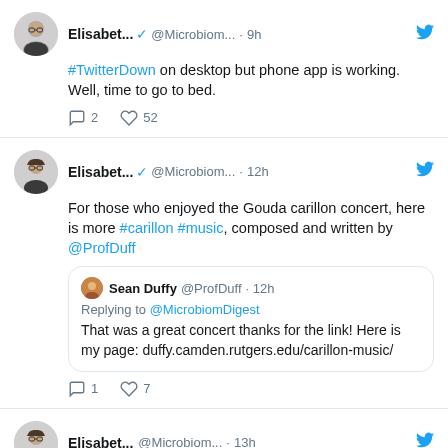Elisabet... ✓ @Microbiom... · 9h — #TwitterDown on desktop but phone app is working. Well, time to go to bed. — 2 replies, 52 likes
Elisabet... ✓ @Microbiom... · 12h — For those who enjoyed the Gouda carillon concert, here is more #carillon #music, composed and written by @ProfDuff — Quoted tweet: Sean Duffy @ProfDuff · 12h — Replying to @MicrobiomDigest — That was a great concert thanks for the link! Here is my page: duffy.camden.rutgers.edu/carillon-music/ — 1 reply, 7 likes
Elisabet... @Microbiom... · 13h